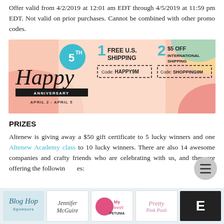Offer valid from 4/2/2019 at 12:01 am EDT through 4/5/2019 at 11:59 pm EDT. Not valid on prior purchases. Cannot be combined with other promo codes.
[Figure (infographic): Happy 5th Anniversary banner with two promo codes: 1 FREE U.S. SHIPPING Code: HAPPY9M and 2 $5 OFF INTERNATIONAL SHIPPING Code: SHOPPING9M. April 2 - April 5.]
PRIZES
Altenew is giving away a $50 gift certificate to 5 lucky winners and one Altenew Academy class to 10 lucky winners. There are also 14 awesome companies and crafty friends who are celebrating with us, and they are offering the following prizes:
[Figure (photo): Blog Hop Sponsors logo strip showing: Blog Hop Sponsors, Jennifer McGuire, My Sweet Petunia, Pretty Pink Posh, and another brand logo (E).]